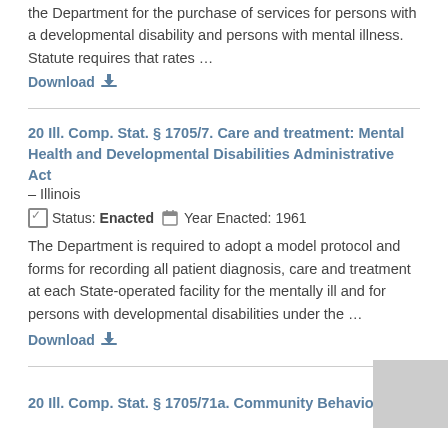the Department for the purchase of services for persons with a developmental disability and persons with mental illness. Statute requires that rates …
Download
20 Ill. Comp. Stat. § 1705/7. Care and treatment: Mental Health and Developmental Disabilities Administrative Act – Illinois
Status: Enacted   Year Enacted: 1961
The Department is required to adopt a model protocol and forms for recording all patient diagnosis, care and treatment at each State-operated facility for the mentally ill and for persons with developmental disabilities under the …
Download
20 Ill. Comp. Stat. § 1705/71a. Community Behavioral